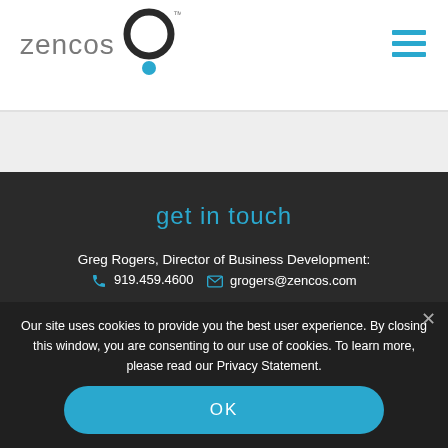[Figure (logo): Zencos logo with circular icon and blue dot, and hamburger menu icon in top right]
get in touch
Greg Rogers, Director of Business Development: 919.459.4600  grogers@zencos.com
Our site uses cookies to provide you the best user experience. By closing this window, you are consenting to our use of cookies. To learn more, please read our Privacy Statement.
OK